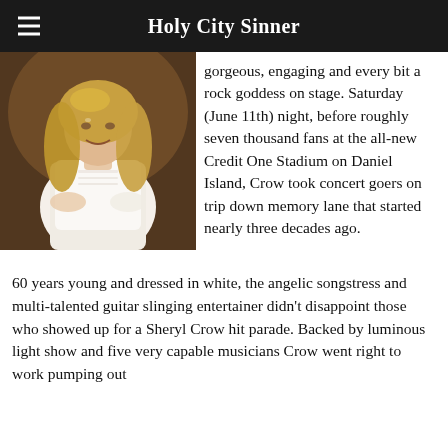Holy City Sinner
[Figure (photo): Woman with long blonde hair wearing a white lace top, smiling at camera, photographed indoors with warm lighting]
gorgeous, engaging and every bit a rock goddess on stage. Saturday (June 11th) night, before roughly seven thousand fans at the all-new Credit One Stadium on Daniel Island, Crow took concert goers on trip down memory lane that started nearly three decades ago.
60 years young and dressed in white, the angelic songstress and multi-talented guitar slinging entertainer didn't disappoint those who showed up for a Sheryl Crow hit parade. Backed by luminous light show and five very capable musicians Crow went right to work pumping out